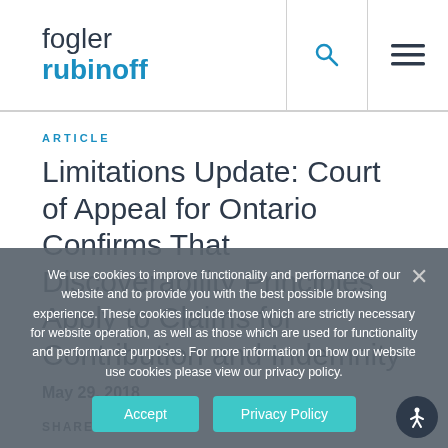fogler rubinoff
ARTICLE
Limitations Update: Court of Appeal for Ontario Confirms That Discoverability Principles Apply to Claims for Contribution and Indemnity
May 29, 2018
We use cookies to improve functionality and performance of our website and to provide you with the best possible browsing experience. These cookies include those which are strictly necessary for website operation, as well as those which are used for functionality and performance purposes. For more information on how our website use cookies please view our privacy policy.
SHARE